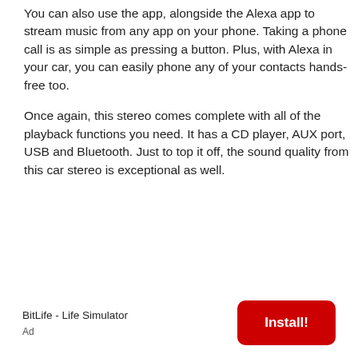You can also use the app, alongside the Alexa app to stream music from any app on your phone. Taking a phone call is as simple as pressing a button. Plus, with Alexa in your car, you can easily phone any of your contacts hands-free too.
Once again, this stereo comes complete with all of the playback functions you need. It has a CD player, AUX port, USB and Bluetooth. Just to top it off, the sound quality from this car stereo is exceptional as well.
BitLife - Life Simulator
Ad
Install!